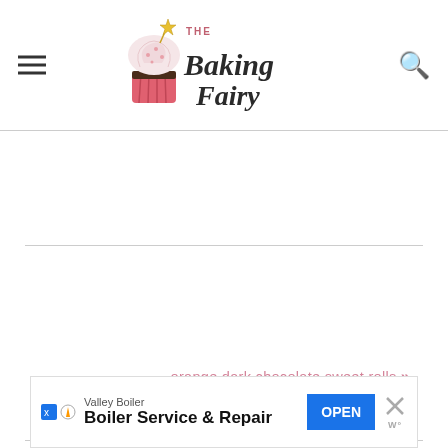The Baking Fairy
orange dark chocolate sweet rolls »
Comments
[Figure (other): Advertisement banner for Valley Boiler - Boiler Service & Repair with OPEN button]